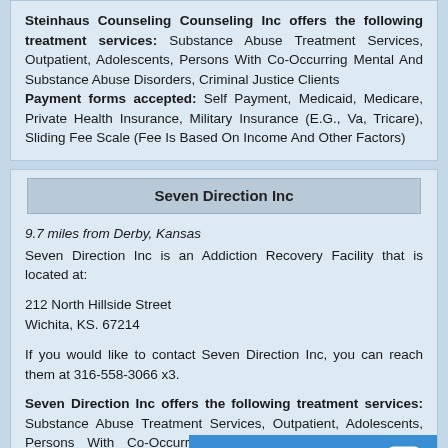Steinhaus Counseling Counseling Inc offers the following treatment services: Substance Abuse Treatment Services, Outpatient, Adolescents, Persons With Co-Occurring Mental And Substance Abuse Disorders, Criminal Justice Clients Payment forms accepted: Self Payment, Medicaid, Medicare, Private Health Insurance, Military Insurance (E.G., Va, Tricare), Sliding Fee Scale (Fee Is Based On Income And Other Factors)
Seven Direction Inc
9.7 miles from Derby, Kansas
Seven Direction Inc is an Addiction Recovery Facility that is located at:

212 North Hillside Street
Wichita, KS. 67214

If you would like to contact Seven Direction Inc, you can reach them at 316-558-3066 x3.

Seven Direction Inc offers the following treatment services: Substance Abuse Treatment Services, Outpatient, Adolescents, Persons With Co-Occurring Mental And Substance Abuse Disorders, Lesbians, Seniors/Older...